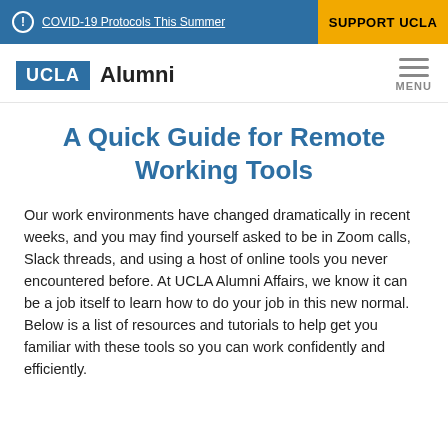COVID-19 Protocols This Summer | SUPPORT UCLA
[Figure (logo): UCLA Alumni logo with blue UCLA box and Alumni text, plus hamburger menu icon labeled MENU]
A Quick Guide for Remote Working Tools
Our work environments have changed dramatically in recent weeks, and you may find yourself asked to be in Zoom calls, Slack threads, and using a host of online tools you never encountered before. At UCLA Alumni Affairs, we know it can be a job itself to learn how to do your job in this new normal. Below is a list of resources and tutorials to help get you familiar with these tools so you can work confidently and efficiently.